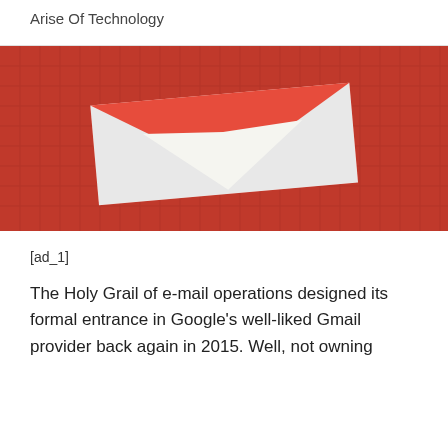Arise Of Technology
[Figure (photo): A red paper/cardboard Gmail envelope logo with the distinctive M-shape flap, placed on a red grid-patterned background]
[ad_1]
The Holy Grail of e-mail operations designed its formal entrance in Google's well-liked Gmail provider back again in 2015. Well, not owning